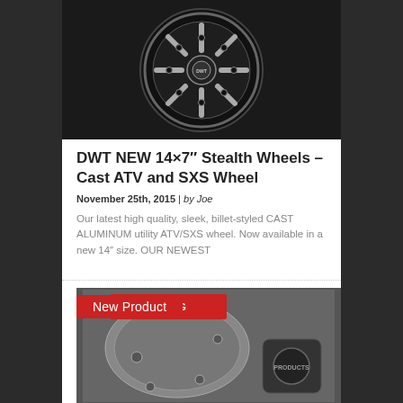[Figure (photo): DWT black 14x7 Stealth cast aluminum ATV/SXS wheel shown against dark background]
DWT NEW 14×7″ Stealth Wheels – Cast ATV and SXS Wheel
November 25th, 2015 | by Joe
Our latest high quality, sleek, billet-styled CAST ALUMINUM utility ATV/SXS wheel. Now available in a new 14" size. OUR NEWEST
[Figure (photo): Engine cover/clutch cover motorcycle parts shown with a red racing badge label reading New Product]
New Product